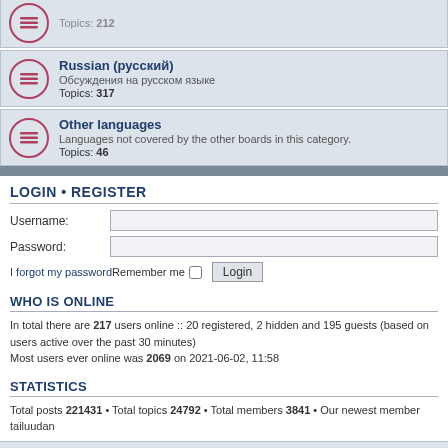Russian (русский) — Обсуждения на русском языке — Topics: 317
Other languages — Languages not covered by the other boards in this category. — Topics: 46
LOGIN • REGISTER
Username:
Password:
I forgot my password
Remember me  Login
WHO IS ONLINE
In total there are 217 users online :: 20 registered, 2 hidden and 195 guests (based on users active over the past 30 minutes)
Most users ever online was 2069 on 2021-06-02, 11:58
STATISTICS
Total posts 221431 • Total topics 24792 • Total members 3841 • Our newest member tailuudan
Forum index   Delete cookies   All times are UTC
Powered by phpBB® Forum Software © phpBB Limited